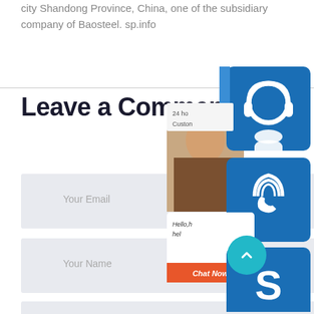city Shandong Province, China, one of the subsidiary company of Baosteel. sp.info
Leave a Comment
[Figure (screenshot): Customer service widget overlay showing: a blue customer support icon button (headset), a blue phone/call icon button, a chat popup with partially visible female customer service agent photo, text 'Hello,h hel,' and an orange 'Chat Now' button, and a blue Skype icon button]
Your Email
Your Name
Phone Number